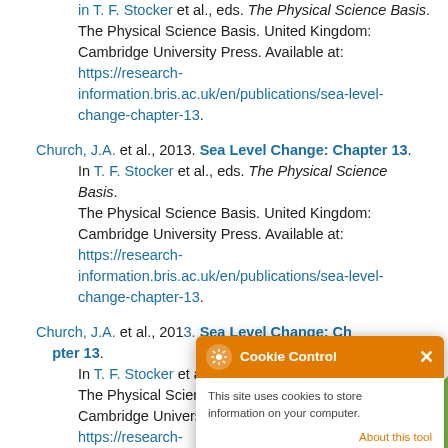The Physical Science Basis. United Kingdom: Cambridge University Press. Available at: https://research-information.bris.ac.uk/en/publications/sea-level-change-chapter-13.
Church, J.A. et al., 2013. Sea Level Change: Chapter 13. In T. F. Stocker et al., eds. The Physical Science Basis. The Physical Science Basis. United Kingdom: Cambridge University Press. Available at: https://research-information.bris.ac.uk/en/publications/sea-level-change-chapter-13.
Church, J.A. et al., 201[3. Sea Level Change: Chapter 13]. In T. F. Stocker et a[l., eds. The Physical Science Basis]. The Physical Scien[ce Basis. United Kingdom:] Cambridge Univers[ity Press. Available at:] https://research-information.bris.ac.uk/en/publications/sea-level-
[Figure (screenshot): Cookie Control popup overlay with orange header, gear icon, title 'Cookie Control', close X button, body text 'This site uses cookies to store information on your computer.', 'About this tool' link in orange, and orange 'read more' button at bottom.]